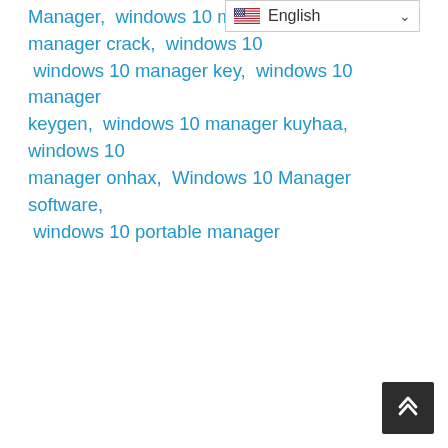Manager,  windows 10 manager,  windows 10 manager crack,  windows 10 manager download,  windows 10 manager key,  windows 10 manager keygen,  windows 10 manager kuyhaa,  windows 10 manager onhax,  Windows 10 Manager software,  windows 10 portable manager
[Figure (other): Language selector dropdown showing English with US flag]